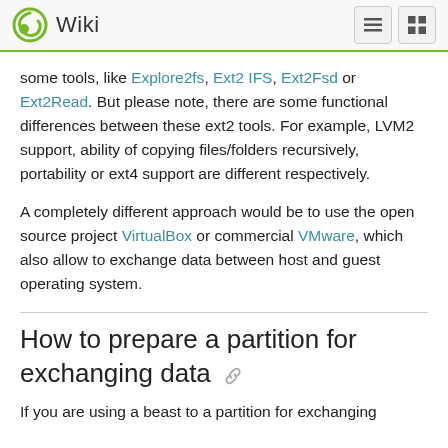Wiki
some tools, like Explore2fs, Ext2 IFS, Ext2Fsd or Ext2Read. But please note, there are some functional differences between these ext2 tools. For example, LVM2 support, ability of copying files/folders recursively, portability or ext4 support are different respectively.
A completely different approach would be to use the open source project VirtualBox or commercial VMware, which also allow to exchange data between host and guest operating system.
How to prepare a partition for exchanging data
If you are using a beast to a partition for exchanging